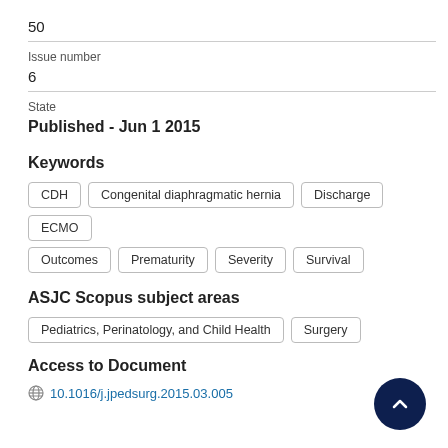50
Issue number
6
State
Published - Jun 1 2015
Keywords
CDH
Congenital diaphragmatic hernia
Discharge
ECMO
Outcomes
Prematurity
Severity
Survival
ASJC Scopus subject areas
Pediatrics, Perinatology, and Child Health
Surgery
Access to Document
10.1016/j.jpedsurg.2015.03.005